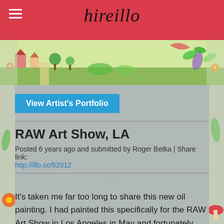hireillo
[Figure (illustration): Decorative colorful illustrated header strip with landscape, flowers, leaves, and whimsical elements]
View Artist's Portfolio
RAW Art Show, LA
Posted 6 years ago and submitted by Roger Betka | Share link: http://illo.cc/62912
It's taken me far too long to share this new oil painting. I had painted this specifically for the RAW Art Show in Los Angeles in May and fortunately sold it to someone unrelated to that night's event. I love working in this style and look forward to more successes with it soon.